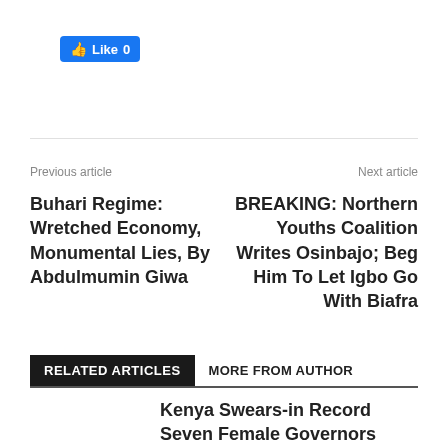[Figure (screenshot): Facebook Like button showing 'Like 0' count in blue]
Previous article
Next article
Buhari Regime: Wretched Economy, Monumental Lies, By Abdulmumin Giwa
BREAKING: Northern Youths Coalition Writes Osinbajo; Beg Him To Let Igbo Go With Biafra
RELATED ARTICLES
MORE FROM AUTHOR
Kenya Swears-in Record Seven Female Governors